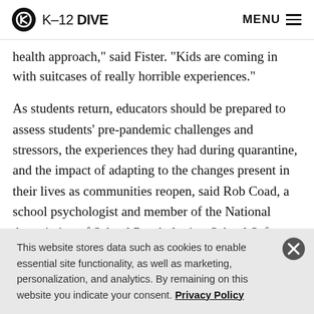K-12 DIVE  MENU
health approach," said Fister. "Kids are coming in with suitcases of really horrible experiences."
As students return, educators should be prepared to assess students' pre-pandemic challenges and stressors, the experiences they had during quarantine, and the impact of adapting to the changes present in their lives as communities reopen, said Rob Coad, a school psychologist and member of the National Association of School Psychologists School Safety and Crisis Response
This website stores data such as cookies to enable essential site functionality, as well as marketing, personalization, and analytics. By remaining on this website you indicate your consent. Privacy Policy